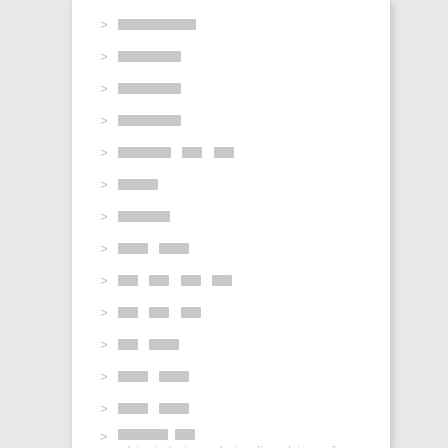▓▓▓▓▓▓▓
▓▓▓▓▓▓
▓▓▓▓▓▓
▓▓▓▓▓▓
▓▓▓▓▓ ▓▓ ▓▓
▓▓▓▓
▓▓▓▓▓
▓▓▓ ▓▓▓
▓▓ ▓▓ ▓▓ ▓▓
▓▓ ▓▓ ▓▓
▓▓ ▓▓▓
▓▓▓ ▓▓▓
▓▓▓ ▓▓▓
▓▓▓▓▓ ▓▓ / relojes imitacion orologi replica relojes replicas
▓▓ ▓▓▓ / replica klockor replica uhren
▓▓▓▓▓▓▓▓
▓▓▓▓ ▓▓▓
▓ ▓▓
▓▓▓ ▓▓▓